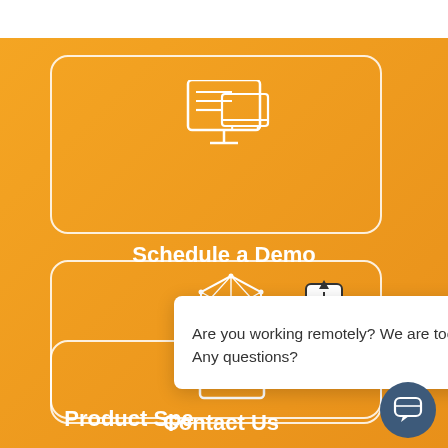[Figure (screenshot): Orange gradient background with 'Schedule a Demo' button card showing a computer/server icon, 'Product Spec' card with 3D network cube icon, 'Contact Us' card with envelope icon, a chat popup overlay saying 'Are you working remotely? We are too! Any questions?', and a chat button in the bottom right.]
Schedule a Demo
Product Spe[c...]
Contact Us
Are you working remotely? We are too! Any questions?